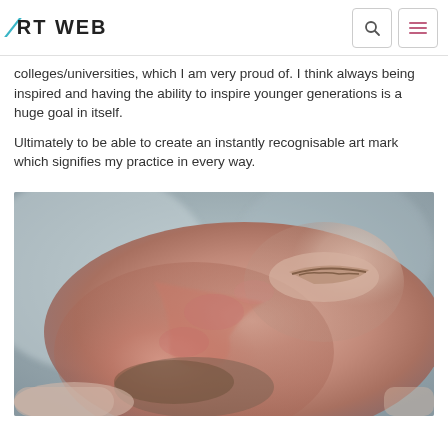ART WEB
colleges/universities, which I am very proud of. I think always being inspired and having the ability to inspire younger generations is a huge goal in itself.
Ultimately to be able to create an instantly recognisable art mark which signifies my practice in every way.
[Figure (photo): Close-up photograph of an elderly person's face in profile, showing detailed skin texture with reddish complexion and facial hair stubble. The eye is closed and the face is turned sideways. Background is blurred grey/blue.]